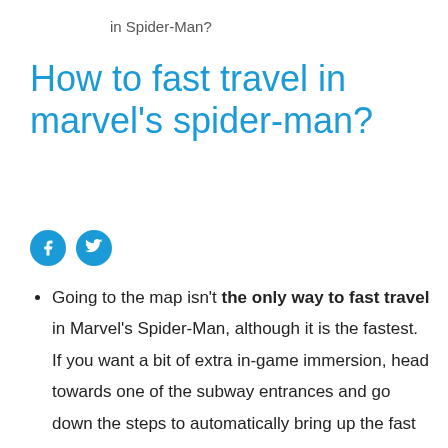in Spider-Man?
How to fast travel in marvel's spider-man?
[Figure (other): Facebook and Twitter social share icon buttons (blue circles with f and bird logo)]
Going to the map isn't the only way to fast travel in Marvel's Spider-Man, although it is the fastest. If you want a bit of extra in-game immersion, head towards one of the subway entrances and go down the steps to automatically bring up the fast travel menu.